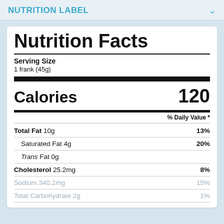NUTRITION LABEL
Nutrition Facts
Serving Size
1 frank (45g)
| Nutrient | Amount | % Daily Value |
| --- | --- | --- |
| Calories | 120 |  |
| Total Fat | 10g | 13% |
| Saturated Fat | 4g | 20% |
| Trans Fat | 0g |  |
| Cholesterol | 25.2mg | 8% |
| Sodium | 340.2mg | 15% |
| Total Carbohydrate | 2g | 1% |